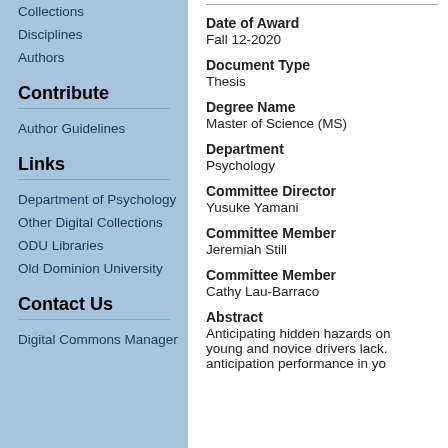Collections
Disciplines
Authors
Contribute
Author Guidelines
Links
Department of Psychology
Other Digital Collections
ODU Libraries
Old Dominion University
Contact Us
Digital Commons Manager
Date of Award
Fall 12-2020
Document Type
Thesis
Degree Name
Master of Science (MS)
Department
Psychology
Committee Director
Yusuke Yamani
Committee Member
Jeremiah Still
Committee Member
Cathy Lau-Barraco
Abstract
Anticipating hidden hazards on young and novice drivers lack. anticipation performance in yo